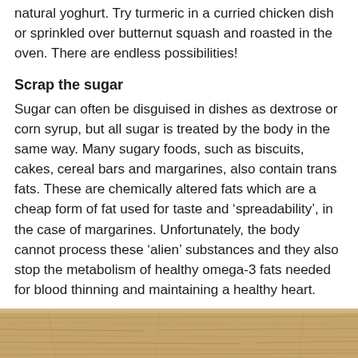natural yoghurt. Try turmeric in a curried chicken dish or sprinkled over butternut squash and roasted in the oven. There are endless possibilities!
Scrap the sugar
Sugar can often be disguised in dishes as dextrose or corn syrup, but all sugar is treated by the body in the same way. Many sugary foods, such as biscuits, cakes, cereal bars and margarines, also contain trans fats. These are chemically altered fats which are a cheap form of fat used for taste and ‘spreadability’, in the case of margarines. Unfortunately, the body cannot process these ‘alien’ substances and they also stop the metabolism of healthy omega-3 fats needed for blood thinning and maintaining a healthy heart.
[Figure (photo): Bottom strip of a wooden surface or table, showing wood grain texture in warm brown tones.]